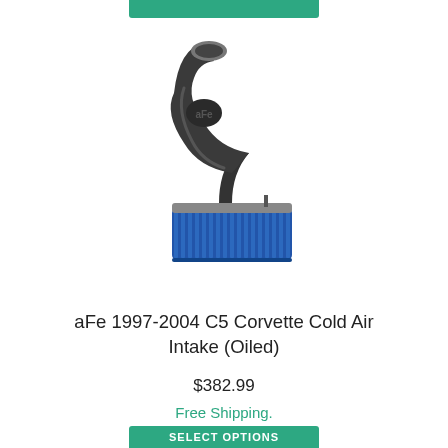[Figure (photo): aFe cold air intake product photo showing a black curved intake pipe attached to a blue rectangular air filter]
aFe 1997-2004 C5 Corvette Cold Air Intake (Oiled)
$382.99
Free Shipping.
★★★★★ (0)